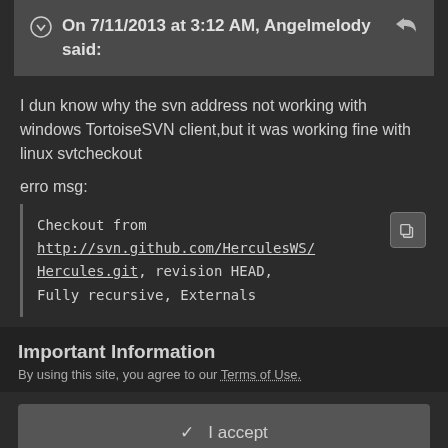On 7/11/2013 at 3:12 AM, Angelmelody said:
I dun know why the svn address not working with windows TortoiseSVN client,but it was working fine with linux svtcheckout
erro msg:
Checkout from http://svn.github.com/HerculesWS/Hercules.git, revision HEAD, Fully recursive, Externals
Important Information
By using this site, you agree to our Terms of Use.
✓  I accept